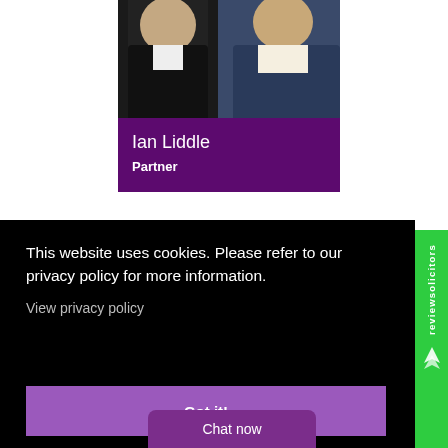[Figure (photo): Partial photo of two people in business attire, cropped at top of page]
Ian Liddle
Partner
This website uses cookies. Please refer to our privacy policy for more information.
View privacy policy
Got it!
Chat now